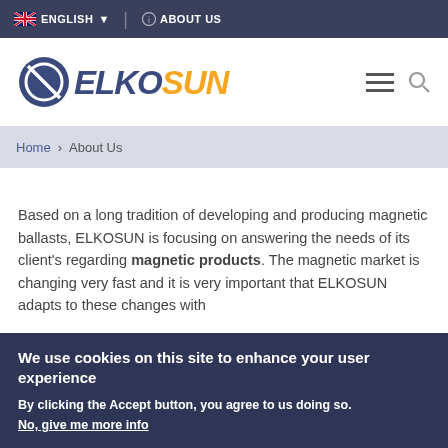ENGLISH | ABOUT US
[Figure (logo): ELKOSUN logo with circular icon, blue ELKO and orange SUN text]
Home > About Us
Based on a long tradition of developing and producing magnetic ballasts, ELKOSUN is focusing on answering the needs of its client's regarding magnetic products. The magnetic market is changing very fast and it is very important that ELKOSUN adapts to these changes with
We use cookies on this site to enhance your user experience
By clicking the Accept button, you agree to us doing so.
No, give me more info